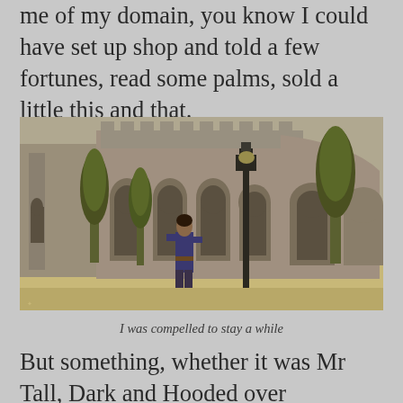me of my domain, you know I could have set up shop and told a few fortunes, read some palms, sold a little this and that.
[Figure (illustration): A 3D rendered scene showing a character in medieval fantasy clothing walking through a gothic stone courtyard with arched windows, cypress trees, and a street lamp. The scene has warm sandy tones on the ground with grey stone architecture.]
I was compelled to stay a while
But something, whether it was Mr Tall, Dark and Hooded over